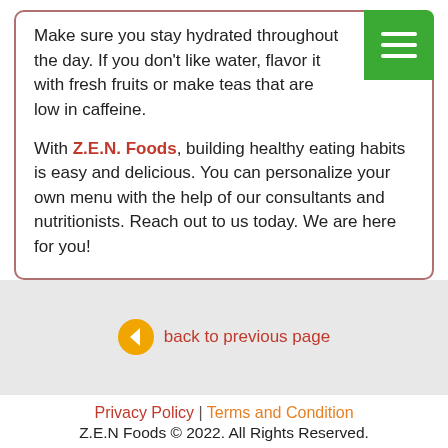Make sure you stay hydrated throughout the day. If you don't like water, flavor it with fresh fruits or make teas that are low in caffeine.
With Z.E.N. Foods, building healthy eating habits is easy and delicious. You can personalize your own menu with the help of our consultants and nutritionists. Reach out to us today. We are here for you!
back to previous page
Privacy Policy | Terms and Condition
Z.E.N Foods © 2022. All Rights Reserved.